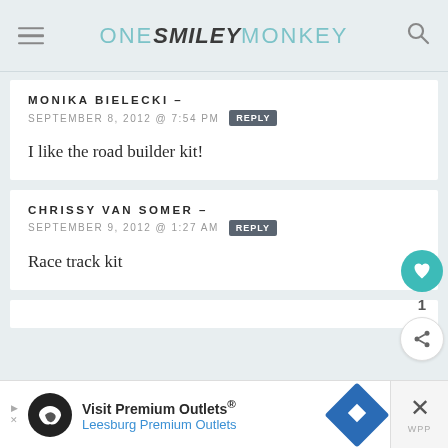ONE SMILEY MONKEY
MONIKA BIELECKI -
SEPTEMBER 8, 2012 @ 7:54 PM
REPLY
I like the road builder kit!
CHRISSY VAN SOMER -
SEPTEMBER 9, 2012 @ 1:27 AM
REPLY
Race track kit
Visit Premium Outlets® Leesburg Premium Outlets